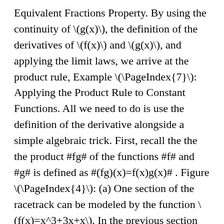Equivalent Fractions Property. By using the continuity of \(g(x)\), the definition of the derivatives of \(f(x)\) and \(g(x)\), and applying the limit laws, we arrive at the product rule, Example \(\PageIndex{7}\): Applying the Product Rule to Constant Functions. All we need to do is use the definition of the derivative alongside a simple algebraic trick. First, recall the the the product #fg# of the functions #f# and #g# is defined as #(fg)(x)=f(x)g(x)# . Figure \(\PageIndex{4}\): (a) One section of the racetrack can be modeled by the function \(f(x)=x^3+3x+x\). In the previous section we noted that we had to be careful when differentiating products or quotients. \(f'(x)=\dfrac{d}{dx}(\dfrac{6}{x^2})=\dfrac{d}{dx}